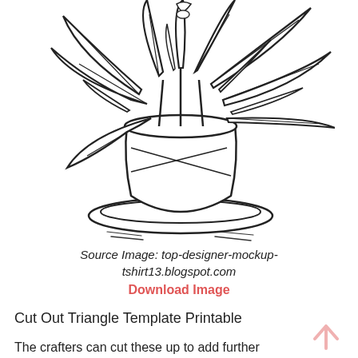[Figure (illustration): Black and white line drawing of a potted plant (poinsettia) in a flower pot sitting on a saucer. The plant has large leaves radiating outward. The illustration is a coloring-page style outline drawing.]
Source Image: top-designer-mockup-tshirt13.blogspot.com
Download Image
Cut Out Triangle Template Printable
The crafters can cut these up to add further